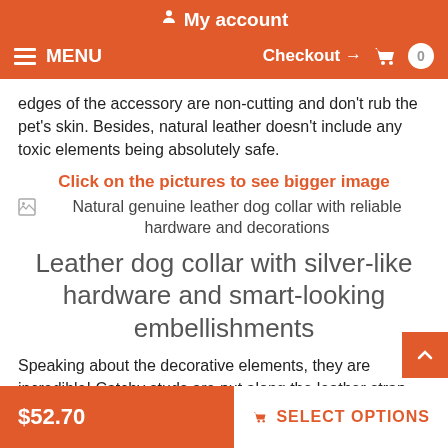My account | MENU | Checkout → 0
edges of the accessory are non-cutting and don't rub the pet's skin. Besides, natural leather doesn't include any toxic elements being absolutely safe.
Click on the pictures to see bigger image
[Figure (photo): Natural genuine leather dog collar with reliable hardware and decorations]
Leather dog collar with silver-like hardware and smart-looking embellishments
Speaking about the decorative elements, they are incredible! Catchy studs are put along the leather strap. These adornments are chrome plated and, therefore shine with amazing glittering. The fancy design of this collar is matchless and individual. Due to
$52.70 | SELECT OPTIONS